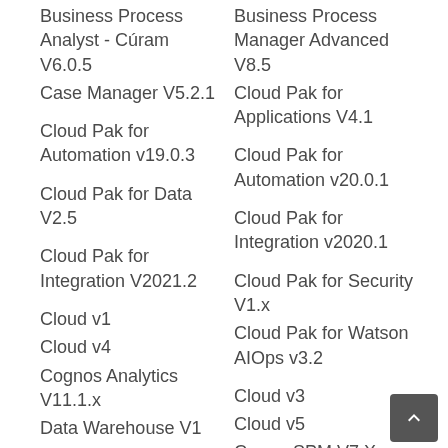Business Process Analyst - Cúram V6.0.5
Case Manager V5.2.1
Cloud Pak for Automation v19.0.3
Cloud Pak for Data V2.5
Cloud Pak for Integration V2021.2
Cloud v1
Cloud v4
Cognos Analytics V11.1.x
Data Warehouse V1
DB2 10 for z/OS
DB2 11 for z/OS
DB2 11.1 for Linux UNIX and Windows
FileNet P8 V5.5.3
IBM Certified Advanced
Business Process Manager Advanced V8.5
Cloud Pak for Applications V4.1
Cloud Pak for Automation v20.0.1
Cloud Pak for Integration v2020.1
Cloud Pak for Security V1.x
Cloud Pak for Watson AIOps v3.2
Cloud v3
Cloud v5
Curam SPM V7.X
DataPower Gateway v7.6
DB2 11 DBA for z/OS
DB2 11 Fundamentals for z/OS
DB2 12 for z/OS
DB2 9.7 SQL Procedure
IBM Certified Administrator
IBM Certified Advanced